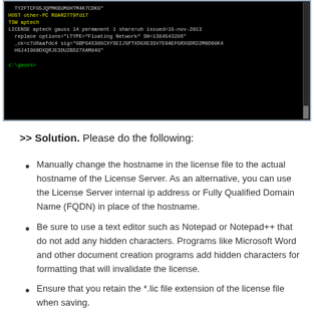[Figure (screenshot): Terminal/command prompt window showing license file contents with HOST, TSW, LICENSE lines and cryptographic signature data. Shows 'c:\gauss>' prompt at bottom.]
>> Solution. Please do the following:
Manually change the hostname in the license file to the actual hostname of the License Server. As an alternative, you can use the License Server internal ip address or Fully Qualified Domain Name (FQDN) in place of the hostname.
Be sure to use a text editor such as Notepad or Notepad++ that do not add any hidden characters. Programs like Microsoft Word and other document creation programs add hidden characters for formatting that will invalidate the license.
Ensure that you retain the *.lic file extension of the license file when saving.